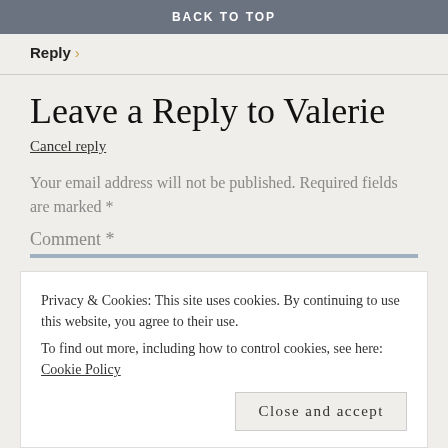BACK TO TOP
Reply ›
Leave a Reply to Valerie
Cancel reply
Your email address will not be published. Required fields are marked *
Comment *
Privacy & Cookies: This site uses cookies. By continuing to use this website, you agree to their use.
To find out more, including how to control cookies, see here: Cookie Policy
Close and accept